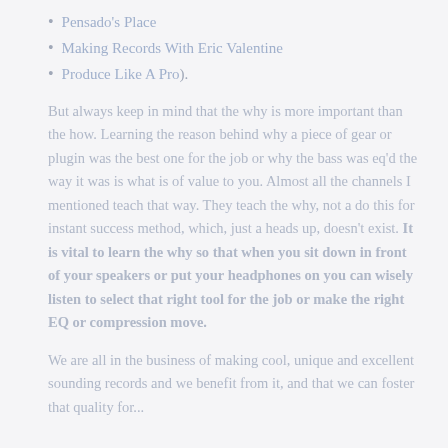Pensado's Place
Making Records With Eric Valentine
Produce Like A Pro).
But always keep in mind that the why is more important than the how. Learning the reason behind why a piece of gear or plugin was the best one for the job or why the bass was eq'd the way it was is what is of value to you. Almost all the channels I mentioned teach that way. They teach the why, not a do this for instant success method, which, just a heads up, doesn't exist. It is vital to learn the why so that when you sit down in front of your speakers or put your headphones on you can wisely listen to select that right tool for the job or make the right EQ or compression move.
We are all in the business of making cool, unique and excellent sounding records and we benefit from it, and that we can foster that quality for...